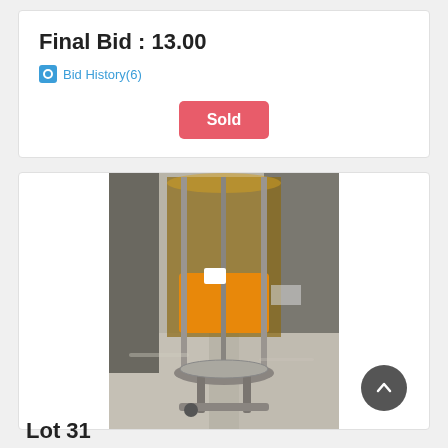Final Bid : 13.00
Bid History(6)
Sold
[Figure (photo): Photo of a commercial juice dispenser or beverage machine with a transparent cylindrical container, orange/yellow plastic components, and a metal stand with drip tray, placed on a stainless steel counter.]
Lot 31